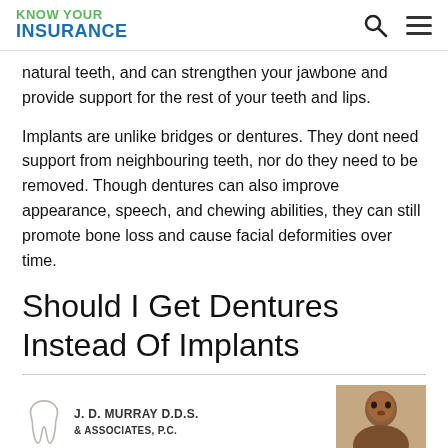KNOW YOUR INSURANCE
natural teeth, and can strengthen your jawbone and provide support for the rest of your teeth and lips.
Implants are unlike bridges or dentures. They dont need support from neighbouring teeth, nor do they need to be removed. Though dentures can also improve appearance, speech, and chewing abilities, they can still promote bone loss and cause facial deformities over time.
Should I Get Dentures Instead Of Implants
[Figure (logo): J. D. Murray D.D.S. & Associates, P.C. dental practice logo with tooth icon]
[Figure (photo): Portrait photo of a person, cropped at head and shoulders]